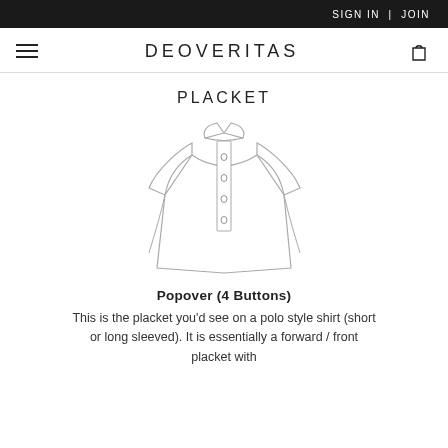SIGN IN | JOIN
DEOVERITAS
PLACKET
[Figure (illustration): Line drawing illustration of a dress shirt with a popover placket showing 4 buttons down the front center]
Popover (4 Buttons)
This is the placket you'd see on a polo style shirt (short or long sleeved). It is essentially a forward / front placket with 3 buttons that extend mid-way through a...